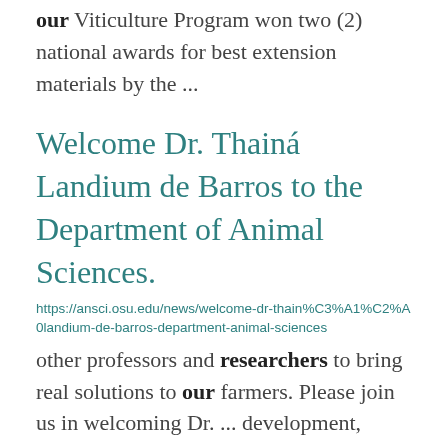our Viticulture Program won two (2) national awards for best extension materials by the ...
Welcome Dr. Thainá Landium de Barros to the Department of Animal Sciences.
https://ansci.osu.edu/news/welcome-dr-thain%C3%A1%C2%A0landium-de-barros-department-animal-sciences
other professors and researchers to bring real solutions to our farmers. Please join us in welcoming Dr. ... development, considering our society's well-being and needs, economic prosperity, and